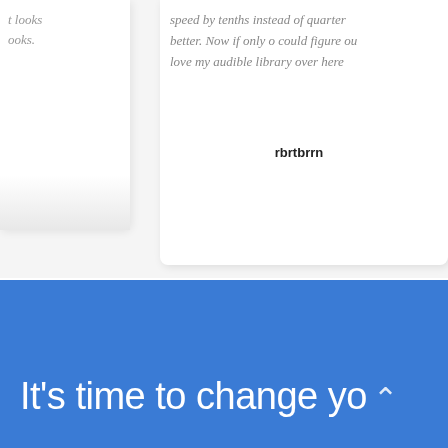looks books.
speed by tenths instead of quarters better. Now if only o could figure ou love my audible library over here
rbrtbrrn
[Figure (other): Carousel pagination dots with second dot highlighted in blue]
It's time to change yo